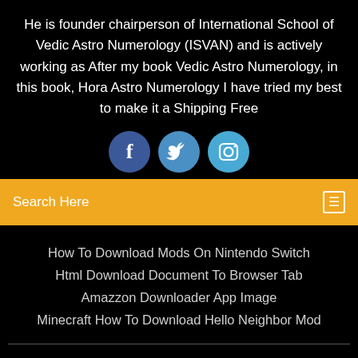He is founder chairperson of International School of Vedic Astro Numerology (ISVAN) and is actively working as After my book Vedic Astro Numerology, in this book, Hora Astro Numerology I have tried my best to make it a Shipping Free
[Figure (other): Three social media icons: Facebook (dark blue circle with 'f'), Twitter (medium blue circle with bird icon), Instagram (light blue circle with camera icon)]
Search Here
How To Download Mods On Nintendo Switch
Html Download Document To Browser Tab
Amazzon Downloader App Image
Minecraft How To Download Hello Neighbor Mod
Copyright ©2022 All rights reserved